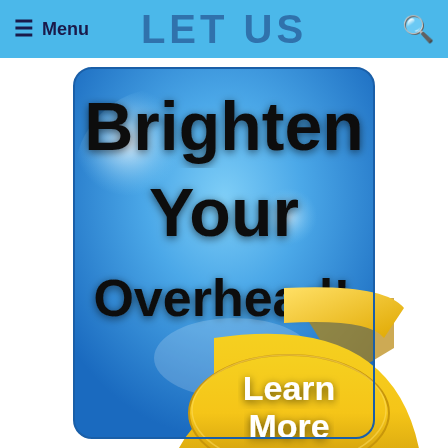Menu
[Figure (illustration): Promotional advertisement banner with blue gradient background and rounded corners. Large bold black text reads 'Brighten Your Overhead!' with a yellow ribbon button at lower right that says 'Learn More'.]